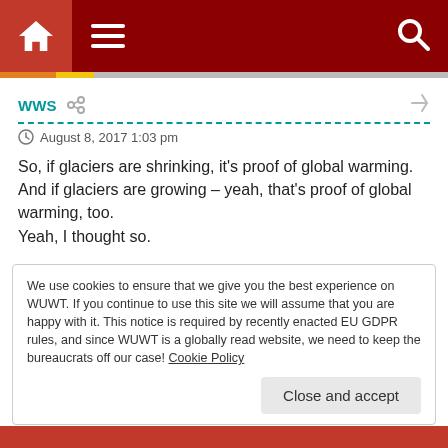WWS navigation bar with home, menu, and search icons
WWS   August 8, 2017 1:03 pm
So, if glaciers are shrinking, it’s proof of global warming. And if glaciers are growing – yeah, that’s proof of global warming, too.
Yeah, I thought so.
We use cookies to ensure that we give you the best experience on WUWT. If you continue to use this site we will assume that you are happy with it. This notice is required by recently enacted EU GDPR rules, and since WUWT is a globally read website, we need to keep the bureaucrats off our case! Cookie Policy
Close and accept